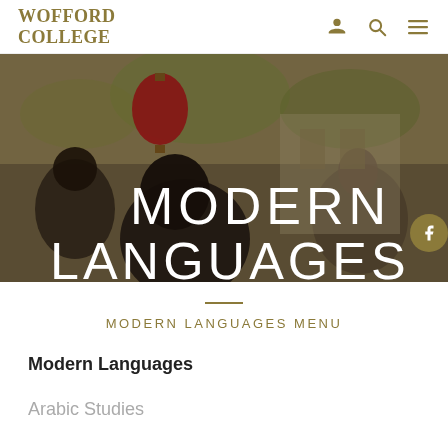WOFFORD COLLEGE
[Figure (photo): Outdoor scene with people, trees, and a red Chinese lantern. Large white text overlay reads 'MODERN LANGUAGES' (partially visible). A circular brown Facebook button is visible on the right edge.]
MODERN LANGUAGES MENU
Modern Languages
Arabic Studies